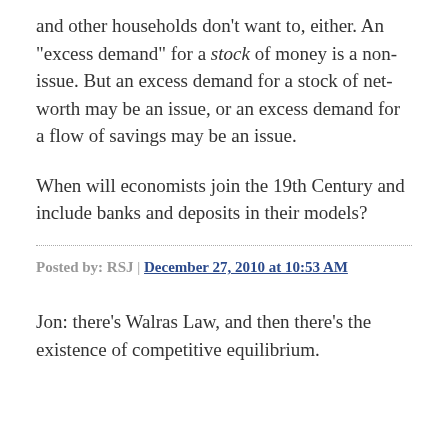and other households don't want to, either. An "excess demand" for a stock of money is a non-issue. But an excess demand for a stock of net-worth may be an issue, or an excess demand for a flow of savings may be an issue.
When will economists join the 19th Century and include banks and deposits in their models?
Posted by: RSJ | December 27, 2010 at 10:53 AM
Jon: there's Walras Law, and then there's the existence of competitive equilibrium.